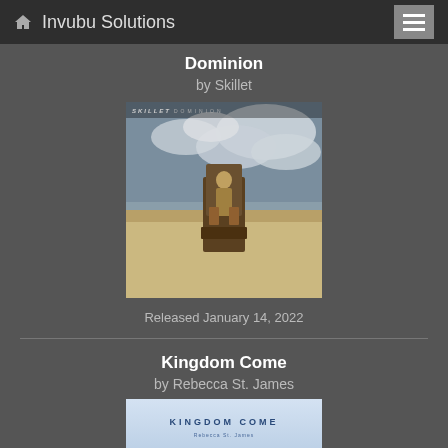Invubu Solutions
Dominion
by Skillet
[Figure (photo): Album cover for Dominion by Skillet showing a person sitting on a throne in a desert landscape with dramatic cloudy sky. Text 'SKILLET DOMINION' visible at top.]
Released January 14, 2022
Kingdom Come
by Rebecca St. James
[Figure (photo): Album cover for Kingdom Come by Rebecca St. James showing title text on a light blue background.]